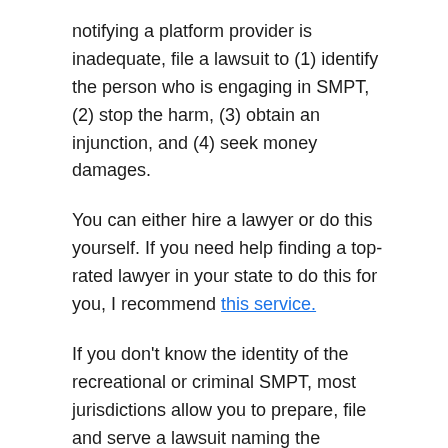notifying a platform provider is inadequate, file a lawsuit to (1) identify the person who is engaging in SMPT, (2) stop the harm, (3) obtain an injunction, and (4) seek money damages.
You can either hire a lawyer or do this yourself. If you need help finding a top-rated lawyer in your state to do this for you, I recommend this service.
If you don’t know the identity of the recreational or criminal SMPT, most jurisdictions allow you to prepare, file and serve a lawsuit naming the unidentified individual as a Doe defendant. Depending on your legal jurisdiction and the recreational or criminal SMPT’s misconduct, you may be able to bring causes of action for negligence, infliction of emotional distress,